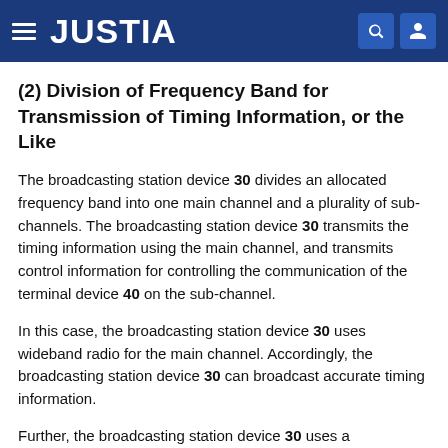JUSTIA
(2) Division of Frequency Band for Transmission of Timing Information, or the Like
The broadcasting station device 30 divides an allocated frequency band into one main channel and a plurality of sub-channels. The broadcasting station device 30 transmits the timing information using the main channel, and transmits control information for controlling the communication of the terminal device 40 on the sub-channel.
In this case, the broadcasting station device 30 uses wideband radio for the main channel. Accordingly, the broadcasting station device 30 can broadcast accurate timing information.
Further, the broadcasting station device 30 uses a